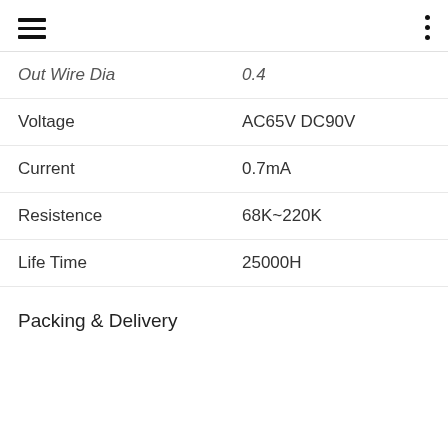hamburger menu icon | vertical dots icon
| Property | Value |
| --- | --- |
| Out Wire Dia | 0.4 |
| Voltage | AC65V DC90V |
| Current | 0.7mA |
| Resistence | 68K~220K |
| Life Time | 25000H |
Packing & Delivery